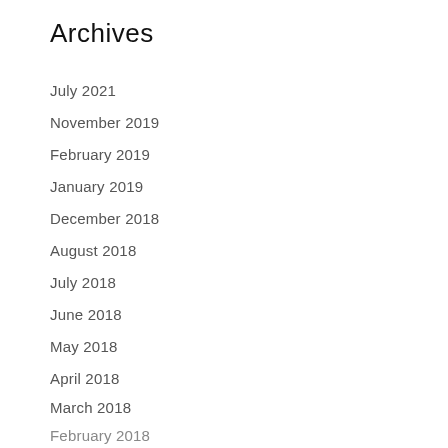Archives
July 2021
November 2019
February 2019
January 2019
December 2018
August 2018
July 2018
June 2018
May 2018
April 2018
March 2018
February 2018
January 2018
December 2017